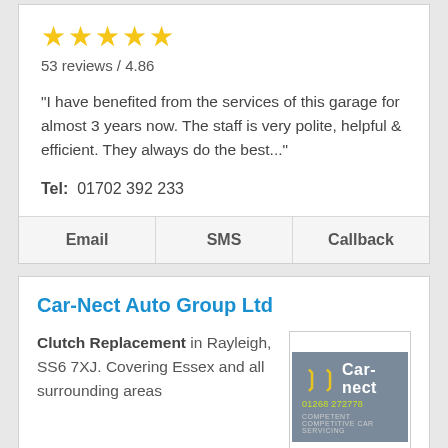[Figure (other): Five gold star rating icons]
53 reviews / 4.86
"I have benefited from the services of this garage for almost 3 years now. The staff is very polite, helpful & efficient. They always do the best..."
Tel:  01702 392 233
Email   SMS   Callback
Car-Nect Auto Group Ltd
Clutch Replacement in Rayleigh, SS6 7XJ. Covering Essex and all surrounding areas
[Figure (logo): Car-nect logo with yellow arrow chevron, white text Car-nect, green phone number 01268 272778, grey tagline COMPETENT COMPETITIVE CAR SERVICING]
WELCOME TO CAR-NECT AUTO GROUP LTD ABOUT